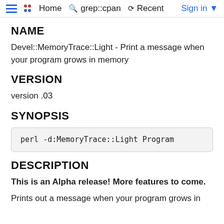Home  grep::cpan  Recent  Sign in
NAME
Devel::MemoryTrace::Light - Print a message when your program grows in memory
VERSION
version .03
SYNOPSIS
perl -d:MemoryTrace::Light Program
DESCRIPTION
This is an Alpha release! More features to come.
Prints out a message when your program grows in